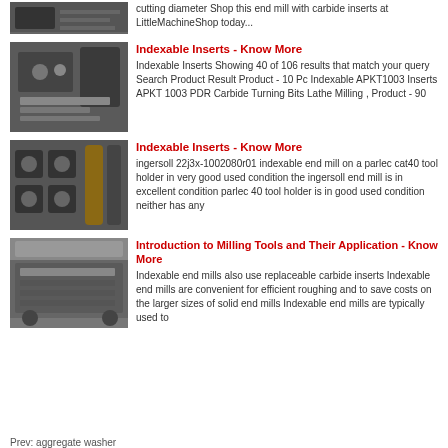[Figure (photo): Partial view of machining equipment or lathe, dark industrial image at top]
cutting diameter Shop this end mill with carbide inserts at LittleMachineShop today...
[Figure (photo): Indexable insert tooling and carbide turning bits on a surface]
Indexable Inserts - Know More
Indexable Inserts Showing 40 of 106 results that match your query Search Product Result Product - 10 Pc Indexable APKT1003 Inserts APKT 1003 PDR Carbide Turning Bits Lathe Milling , Product - 90
[Figure (photo): Indexable end mill tools and holders laid out on a surface]
Indexable Inserts - Know More
ingersoll 22j3x-1002080r01 indexable end mill on a parlec cat40 tool holder in very good used condition the ingersoll end mill is in excellent condition parlec 40 tool holder is in good used condition neither has any
[Figure (photo): Large milling machine or industrial equipment viewed from the side]
Introduction to Milling Tools and Their Application - Know More
Indexable end mills also use replaceable carbide inserts Indexable end mills are convenient for efficient roughing and to save costs on the larger sizes of solid end mills Indexable end mills are typically used to
Prev: aggregate washer